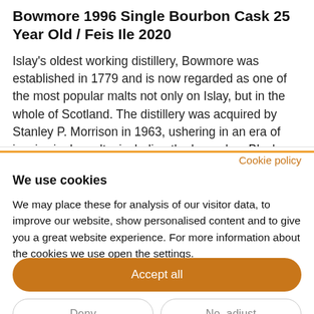Bowmore 1996 Single Bourbon Cask 25 Year Old / Feis Ile 2020
Islay's oldest working distillery, Bowmore was established in 1779 and is now regarded as one of the most popular malts not only on Islay, but in the whole of Scotland. The distillery was acquired by Stanley P. Morrison in 1963, ushering in an era of iconic single malts, including the legendary Black Bowmore,
Cookie policy
We use cookies
We may place these for analysis of our visitor data, to improve our website, show personalised content and to give you a great website experience. For more information about the cookies we use open the settings.
Accept all
Deny
No, adjust